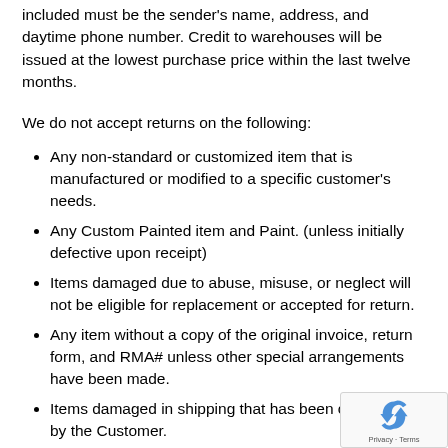included must be the sender's name, address, and daytime phone number. Credit to warehouses will be issued at the lowest purchase price within the last twelve months.
We do not accept returns on the following:
Any non-standard or customized item that is manufactured or modified to a specific customer's needs.
Any Custom Painted item and Paint. (unless initially defective upon receipt)
Items damaged due to abuse, misuse, or neglect will not be eligible for replacement or accepted for return.
Any item without a copy of the original invoice, return form, and RMA# unless other special arrangements have been made.
Items damaged in shipping that has been contracted by the Customer.